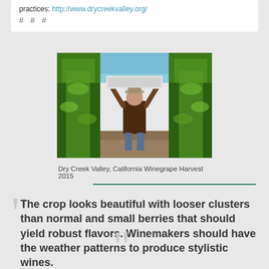practices: http://www.drycreekvalley.org/
# # #
[Figure (photo): Person standing between vineyard rows holding a harvest bin above their head, green grapevines on both sides, blue sky visible at top]
Dry Creek Valley, California Winegrape Harvest 2015
The crop looks beautiful with looser clusters than normal and small berries that should yield robust flavors. Winemakers should have the weather patterns to produce stylistic wines.